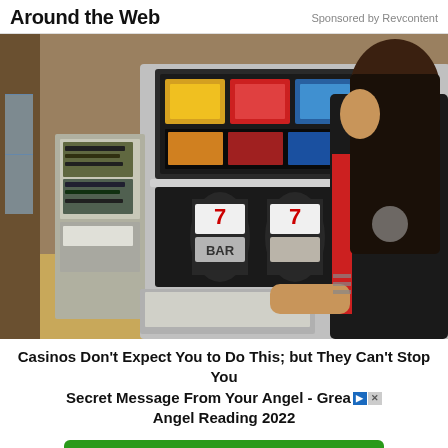Around the Web | Sponsored by Revcontent
[Figure (photo): A person with long dark hair wearing a black and red jacket examines the open interior of a slot machine, showing its mechanical and electronic components.]
Casinos Don't Expect You to Do This; but They Can't Stop You
Secret Message From Your Angel - Great Angel Reading 2022
Visit Site
Ad